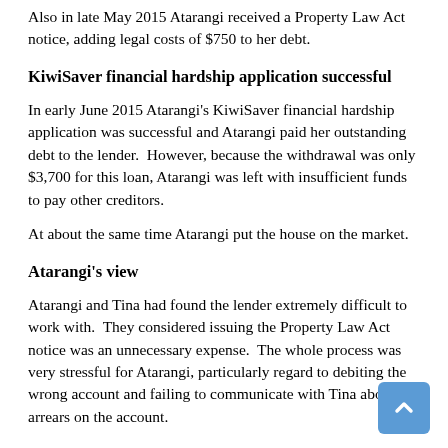Also in late May 2015 Atarangi received a Property Law Act notice, adding legal costs of $750 to her debt.
KiwiSaver financial hardship application successful
In early June 2015 Atarangi's KiwiSaver financial hardship application was successful and Atarangi paid her outstanding debt to the lender. However, because the withdrawal was only $3,700 for this loan, Atarangi was left with insufficient funds to pay other creditors.
At about the same time Atarangi put the house on the market.
Atarangi's view
Atarangi and Tina had found the lender extremely difficult to work with. They considered issuing the Property Law Act notice was an unnecessary expense. The whole process was very stressful for Atarangi, particularly regard to debiting the wrong account and failing to communicate with Tina about the arrears on the account.